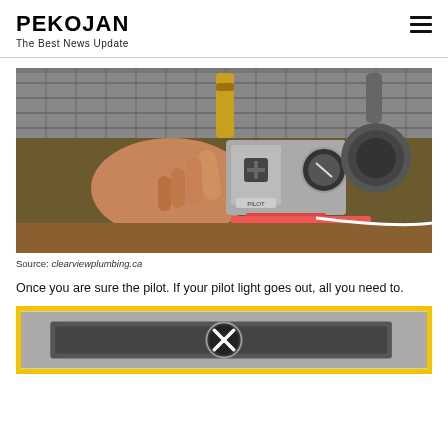PEKOJAN
The Best News Update
[Figure (photo): A hand pointing at a pilot light control valve on a furnace or water heater, showing the gas valve control assembly with wires and mechanical components.]
Source: clearviewplumbing.ca
Once you are sure the pilot. If your pilot light goes out, all you need to.
[Figure (photo): A partially visible image with a yellow border, showing what appears to be a pilot light or furnace component, with a circular close/X button overlay in the center.]